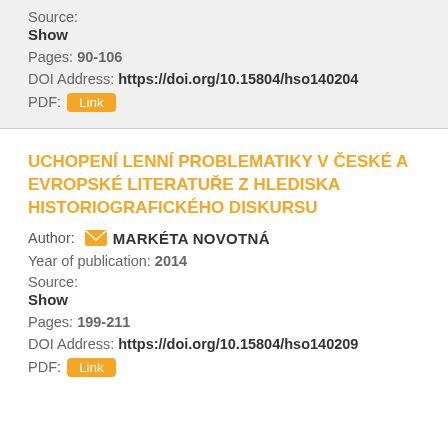Source:
Show
Pages: 90-106
DOI Address: https://doi.org/10.15804/hso140204
PDF: Link
UCHOPENÍ LENNÍ PROBLEMATIKY V ČESKÉ A EVROPSKÉ LITERATUŘE Z HLEDISKA HISTORIOGRAFICKÉHO DISKURSU
Author: MARKÉTA NOVOTNÁ
Year of publication: 2014
Source:
Show
Pages: 199-211
DOI Address: https://doi.org/10.15804/hso140209
PDF: Link